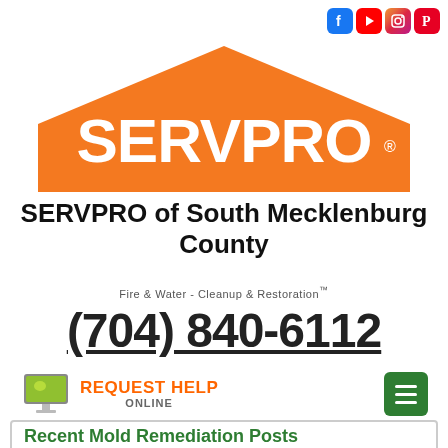[Figure (logo): Social media icons: Facebook, YouTube, Instagram, Pinterest in top right corner]
[Figure (logo): SERVPRO logo - orange house/roof shape with SERVPRO text in white]
SERVPRO of South Mecklenburg County
Fire & Water - Cleanup & Restoration™
(704) 840-6112
[Figure (infographic): Request Help Online button with computer monitor icon in green/yellow]
Recent Mold Remediation Posts